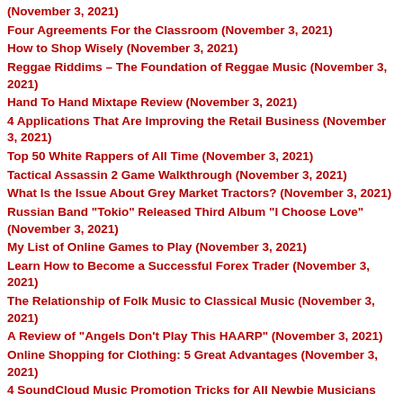(November 3, 2021)
Four Agreements For the Classroom (November 3, 2021)
How to Shop Wisely (November 3, 2021)
Reggae Riddims – The Foundation of Reggae Music (November 3, 2021)
Hand To Hand Mixtape Review (November 3, 2021)
4 Applications That Are Improving the Retail Business (November 3, 2021)
Top 50 White Rappers of All Time (November 3, 2021)
Tactical Assassin 2 Game Walkthrough (November 3, 2021)
What Is the Issue About Grey Market Tractors? (November 3, 2021)
Russian Band "Tokio" Released Third Album "I Choose Love" (November 3, 2021)
My List of Online Games to Play (November 3, 2021)
Learn How to Become a Successful Forex Trader (November 3, 2021)
The Relationship of Folk Music to Classical Music (November 3, 2021)
A Review of "Angels Don't Play This HAARP" (November 3, 2021)
Online Shopping for Clothing: 5 Great Advantages (November 3, 2021)
4 SoundCloud Music Promotion Tricks for All Newbie Musicians (November 3, 2021)
Active Camo Tips For Halo Reach (November 3, 2021)
Expats Move To Hong Kong For An Exquisite Experience (November 3, 2021)